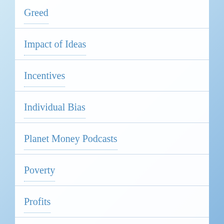Greed
Impact of Ideas
Incentives
Individual Bias
Planet Money Podcasts
Poverty
Profits
Racism
Rich People
Socialism
Theology